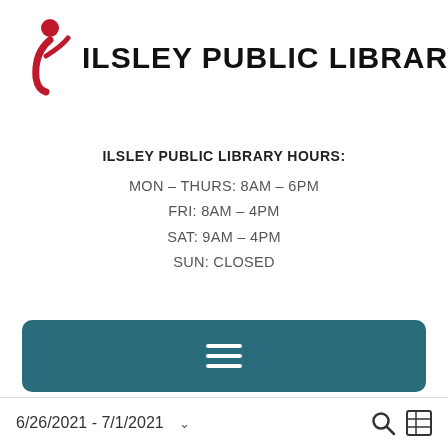[Figure (logo): Ilsley Public Library logo: red stylized figure with arm raised forming letter i, followed by bold uppercase text 'ILSLEY PUBLIC LIBRARY']
ILSLEY PUBLIC LIBRARY HOURS:
MON – THURS: 8AM – 6PM
FRI: 8AM – 4PM
SAT: 9AM – 4PM
SUN: CLOSED
[Figure (screenshot): Teal rounded rectangle button with hamburger menu icon (three white horizontal lines)]
6/26/2021 - 7/1/2021 ∨